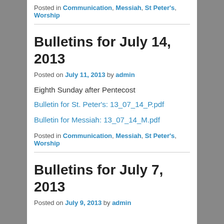Posted in Communication, Messiah, St Peter's, Worship
Bulletins for July 14, 2013
Posted on July 11, 2013 by admin
Eighth Sunday after Pentecost
Bulletin for St. Peter's: 13_07_14_P.pdf
Bulletin for Messiah: 13_07_14_M.pdf
Posted in Communication, Messiah, St Peter's, Worship
Bulletins for July 7, 2013
Posted on July 9, 2013 by admin